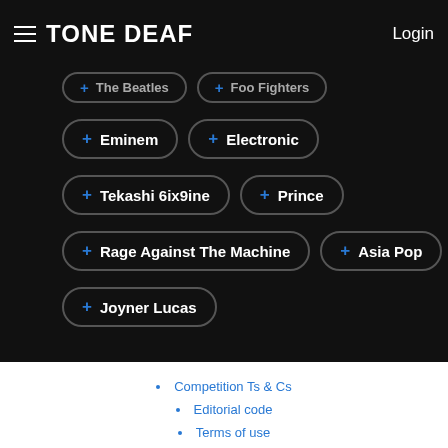TONE DEAF | Login
[Figure (screenshot): Dark background UI with pill-shaped tag/filter buttons showing artist and genre names with blue plus icons: The Beatles, Foo Fighters (partial top row), Eminem, Electronic, Tekashi 6ix9ine, Prince, Rage Against The Machine, Asia Pop, Joyner Lucas]
Competition Ts & Cs
Editorial code
Terms of use
Privacy